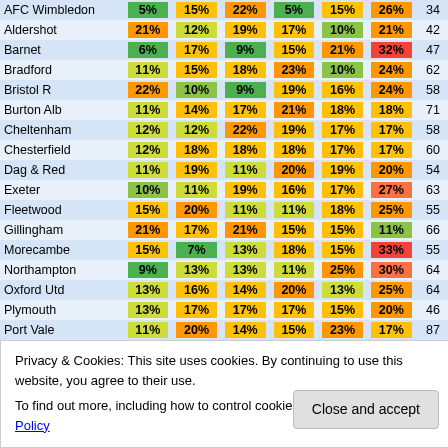| Team | Col1 | Col2 | Col3 | Col4 | Col5 | Col6 | Pts |
| --- | --- | --- | --- | --- | --- | --- | --- |
| AFC Wimbledon | 5% | 15% | 22% | 5% | 15% | 26% | 34 |
| Aldershot | 21% | 12% | 19% | 17% | 10% | 21% | 42 |
| Barnet | 6% | 17% | 9% | 15% | 21% | 32% | 47 |
| Bradford | 11% | 15% | 18% | 23% | 10% | 24% | 62 |
| Bristol R | 22% | 10% | 9% | 19% | 16% | 24% | 58 |
| Burton Alb | 11% | 14% | 17% | 21% | 18% | 18% | 71 |
| Cheltenham | 12% | 12% | 22% | 19% | 17% | 17% | 58 |
| Chesterfield | 12% | 18% | 18% | 18% | 17% | 17% | 60 |
| Dag & Red | 11% | 19% | 11% | 20% | 19% | 20% | 54 |
| Exeter | 10% | 11% | 19% | 16% | 17% | 27% | 63 |
| Fleetwood | 15% | 20% | 11% | 11% | 18% | 25% | 55 |
| Gillingham | 21% | 17% | 21% | 15% | 15% | 11% | 66 |
| Morecambe | 15% | 7% | 13% | 18% | 15% | 33% | 55 |
| Northampton | 9% | 13% | 13% | 11% | 25% | 30% | 64 |
| Oxford Utd | 13% | 16% | 14% | 20% | 13% | 25% | 64 |
| Plymouth | 13% | 17% | 17% | 17% | 15% | 20% | 46 |
| Port Vale | 11% | 20% | 14% | 15% | 23% | 17% | 87 |
| Rochdale | 13% | 9% | 19% | 13% | 19% | 26% | 68 |
| Rotherham | 11% | 10% | 13% | 16% | 21% | 26% | 70 |
Privacy & Cookies: This site uses cookies. By continuing to use this website, you agree to their use.
To find out more, including how to control cookies, see here: Cookie Policy